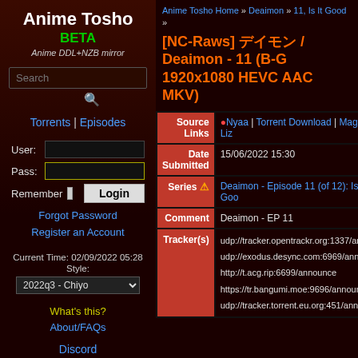Anime Tosho BETA — Anime DDL+NZB mirror
Search
Torrents | Episodes
User: Pass: Remember Login
Forgot Password
Register an Account
Current Time: 02/09/2022 05:28
Style: 2022q3 - Chiyo
What's this?
About/FAQs
Discord
Anime Tosho Home » Deaimon » 11, Is It Good »
[NC-Raws] デイモン / Deaimon - 11 (B-Global 1920x1080 HEVC AAC MKV)
| Field | Value |
| --- | --- |
| Source Links | ●Nyaa | Torrent Download | Magnet Link |
| Date Submitted | 15/06/2022 15:30 |
| Series | Deaimon - Episode 11 (of 12): Is It Good |
| Comment | Deaimon - EP 11 |
| Tracker(s) | udp://tracker.opentrackr.org:1337/anno...
udp://exodus.desync.com:6969/announce
http://t.acg.rip:6699/announce
https://tr.bangumi.moe:9696/announce
udp://tracker.torrent.eu.org:451/announ... |